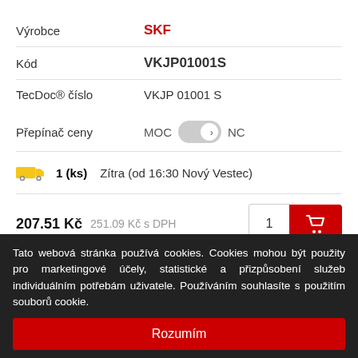| Výrobce | SKF |
| Kód | VKJP01001S |
| TecDoc® číslo | VKJP 01001 S |
Přepínač ceny   MOC  >  NC
1 (ks)   Zítra (od 16:30 Nový Vestec)
207.51 Kč   251.09 Kč s DPH   [1] [cart]
> 10 (ks)   Pozítří (od 8:00 Nový Vestec)
Tato webová stránka používá cookies. Cookies mohou být použity pro marketingové účely, statistické a přizpůsobení služeb individuálním potřebám uživatele. Používáním souhlasíte s použitím souborů cookie.
Rozumím